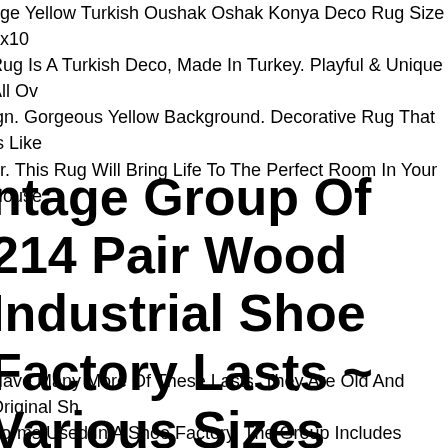age Yellow Turkish Oushak Oshak Konya Deco Rug Size 7x10 Rug Is A Turkish Deco, Made In Turkey. Playful & Unique All Over ign. Gorgeous Yellow Background. Decorative Rug That Is Like er. This Rug Will Bring Life To The Perfect Room In Your House.
ntage Group Of 214 Pair Wood Industrial Shoe Factory Lasts ~ Various Sizes
Have Many More Of These Lasts. They Are Old And Original Sh Forms Used In A Shoe Factory. The Group Includes Various Si Styles. These Type Wooden Molds Were Used To Build The Sh he Correct Size And Form As They Traveled Through The Facto n Start To Finish.
ot Sale Various Size 110v/220v urved/cubed Glass Bakery Display